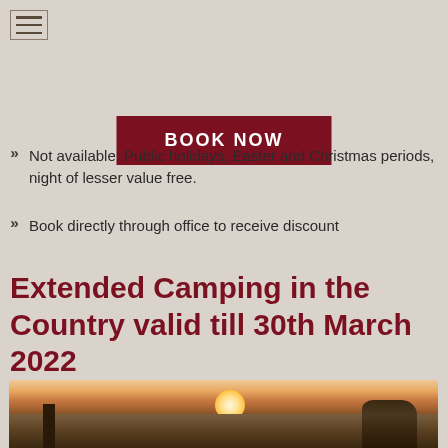[Figure (other): Hamburger menu icon in top left corner]
BOOK NOW
Not available: Public holidays, Easter and Christmas periods, night of lesser value free.
Book directly through office to receive discount
Extended Camping in the Country valid till 30th March 2022
[Figure (photo): Sunset landscape photo with trees and sky, warm orange and brown tones]